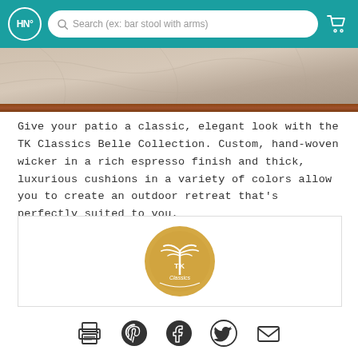HN° | Search (ex: bar stool with arms)
[Figure (photo): Partial product image showing stone/marble texture top with wood bar at bottom]
Give your patio a classic, elegant look with the TK Classics Belle Collection. Custom, hand-woven wicker in a rich espresso finish and thick, luxurious cushions in a variety of colors allow you to create an outdoor retreat that's perfectly suited to you.
[Figure (logo): TK Classics circular logo — gold circle with palm tree and 'TK Classics' text]
[Figure (infographic): Social share icons: print, Pinterest, Facebook, Twitter, email]